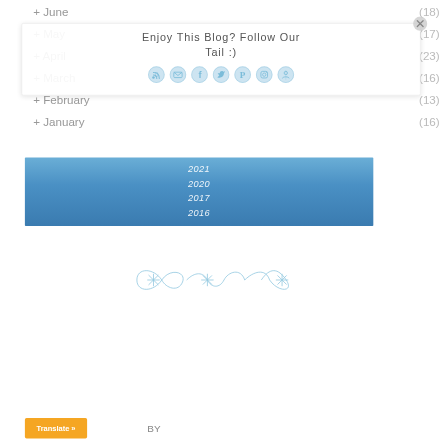+ June (18)
+ May (17)
+ April (23)
+ March (16)
+ February (13)
+ January (16)
Enjoy This Blog? Follow Our Tail :)
[Figure (infographic): Social media follow icons: RSS, email, Facebook, Twitter, Pinterest, Instagram, and another social icon]
2021
2020
2017
2016
[Figure (illustration): Decorative blue floral/snowflake divider ornament]
Translate »